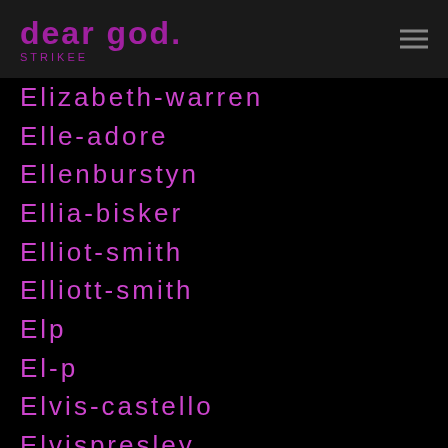dear god - STRIKEE
Elizabeth-warren
Elle-adore
Ellenburstyn
Ellia-bisker
Elliot-smith
Elliott-smith
Elp
El-p
Elvis-castello
Elvispresley
Elvis-presley
Embrace
EMG Pickups
Eminem
Emma Bunton
Emma Ruth Rundle
Emperor